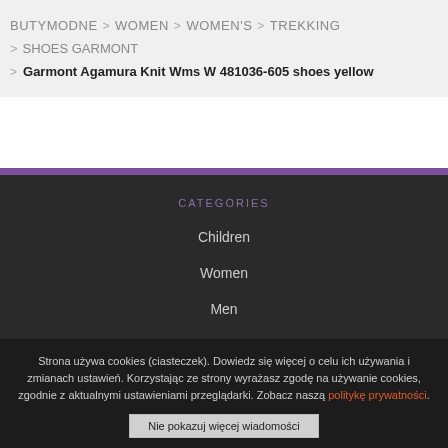BUTYMODNE > WOMEN > WOMEN'S > TREKKING
> SHOES GARMONT
> Garmont Agamura Knit Wms W 481036-605 shoes yellow
CATEGORIES
Children
Women
Men
Sport
Strona używa cookies (ciasteczek). Dowiedz się więcej o celu ich używania i zmianach ustawień. Korzystając ze strony wyrażasz zgodę na używanie cookies, zgodnie z aktualnymi ustawieniami przeglądarki. Zobacz naszą politykę prywatności.
Nie pokazuj więcej wiadomości